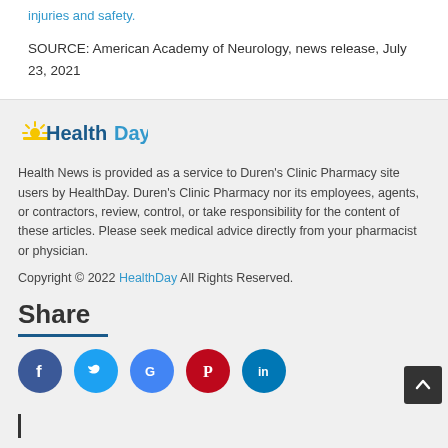injuries and safety.
SOURCE: American Academy of Neurology, news release, July 23, 2021
[Figure (logo): HealthDay logo with sun graphic — 'Health' in dark blue bold, 'Day' in light blue bold]
Health News is provided as a service to Duren's Clinic Pharmacy site users by HealthDay. Duren's Clinic Pharmacy nor its employees, agents, or contractors, review, control, or take responsibility for the content of these articles. Please seek medical advice directly from your pharmacist or physician.
Copyright © 2022 HealthDay All Rights Reserved.
Share
[Figure (infographic): Social media share buttons: Facebook (blue), Twitter (light blue), Google (blue/white), Pinterest (red), LinkedIn (teal)]